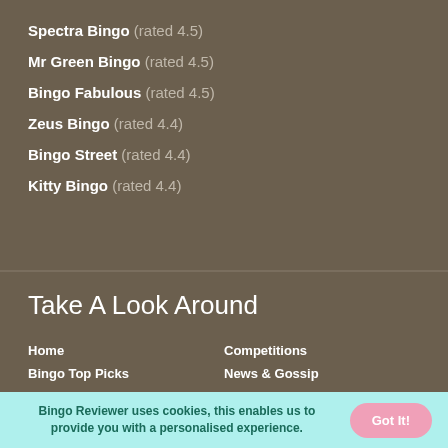Spectra Bingo (rated 4.5)
Mr Green Bingo (rated 4.5)
Bingo Fabulous (rated 4.5)
Zeus Bingo (rated 4.4)
Bingo Street (rated 4.4)
Kitty Bingo (rated 4.4)
Take A Look Around
Home    Competitions
Bingo Top Picks    News & Gossip
Bingo Reviewer uses cookies, this enables us to provide you with a personalised experience.